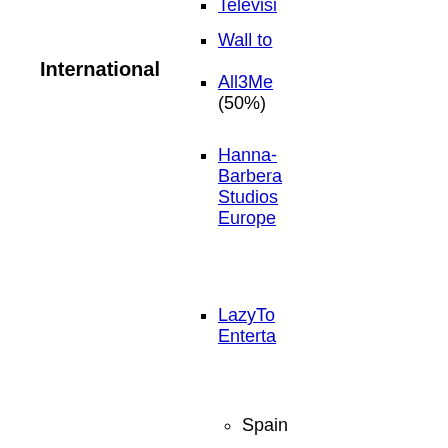International
Televis(ion) [truncated]
Wall to [truncated]
All3Me... (50%)
Hanna-Barbera Studios Europe
LazyTo... Enterta...
Spain
Australia
CN LA Original Productions
Other units
Warner Bros. Theatre Ventures
WaterTower Music
Fandango Media (25% with NBCUniversal)
Fandango Movieclips
Movies.com
MovieTickets.com
Rotten Tomatoes
Fandango Latam
Vudu